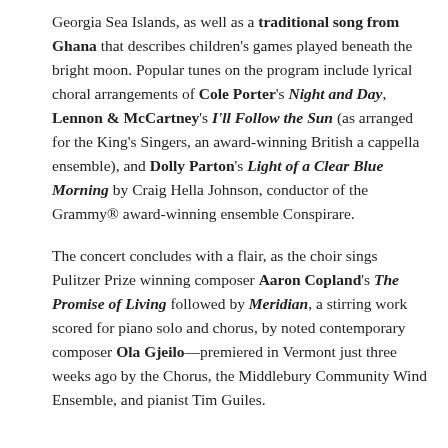Georgia Sea Islands, as well as a traditional song from Ghana that describes children's games played beneath the bright moon. Popular tunes on the program include lyrical choral arrangements of Cole Porter's Night and Day, Lennon & McCartney's I'll Follow the Sun (as arranged for the King's Singers, an award-winning British a cappella ensemble), and Dolly Parton's Light of a Clear Blue Morning by Craig Hella Johnson, conductor of the Grammy® award-winning ensemble Conspirare.
The concert concludes with a flair, as the choir sings Pulitzer Prize winning composer Aaron Copland's The Promise of Living followed by Meridian, a stirring work scored for piano solo and chorus, by noted contemporary composer Ola Gjeilo—premiered in Vermont just three weeks ago by the Chorus, the Middlebury Community Wind Ensemble, and pianist Tim Guiles.